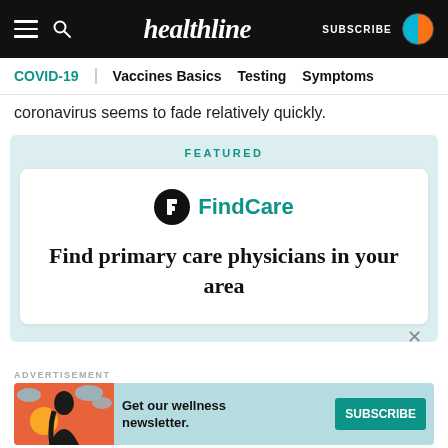healthline | SUBSCRIBE
COVID-19 | Vaccines Basics | Testing | Symptoms
coronavirus seems to fade relatively quickly.
FEATURED
[Figure (logo): FindCare logo with circular icon containing the letter h]
Find primary care physicians in your area
ADVERTISEMENT
[Figure (infographic): Advertisement banner: Get our wellness newsletter. SUBSCRIBE button. Shows illustrated woman with dark hair against orange/red background with clouds.]